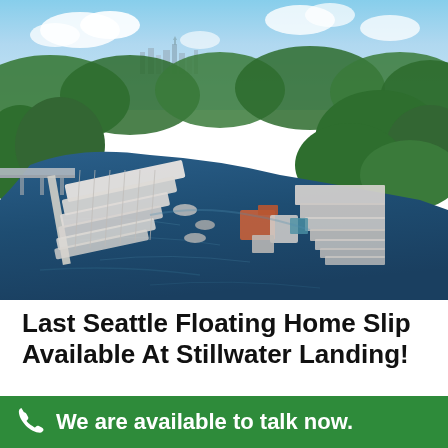[Figure (photo): Aerial photograph of a Seattle marina and floating home community on a lake, with the Seattle skyline visible in the background, surrounded by lush green trees and residential neighborhoods. Multiple docks with boats and floating homes are visible along the waterfront.]
Last Seattle Floating Home Slip Available At Stillwater Landing!
May 3, 2018
SeattleAfloat.Com: Houseboats@CoooperJacobs.Com Keller
We are available to talk now.